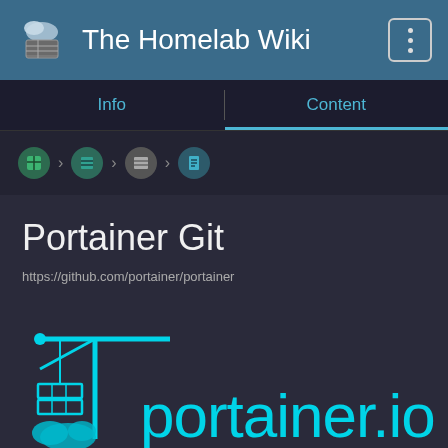The Homelab Wiki
Info | Content
[Figure (screenshot): Breadcrumb navigation icons with arrow separators]
Portainer Git
https://github.com/portainer/portainer
[Figure (logo): portainer.io logo with crane and containers icon in cyan]